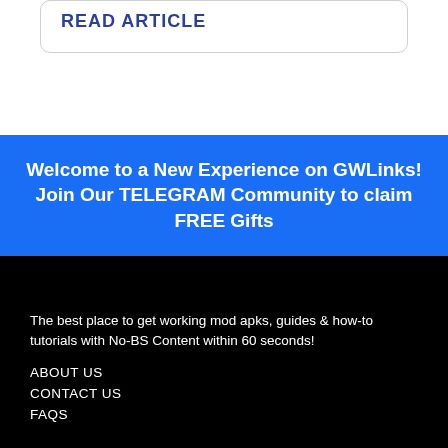READ ARTICLE
Welcome to a New Experience on GWLinks! Join Our TELEGRAM Community to claim FREE Gifts
The best place to get working mod apks, guides & how-to tutorials with No-BS Content within 60 seconds!
ABOUT US
CONTACT US
FAQS